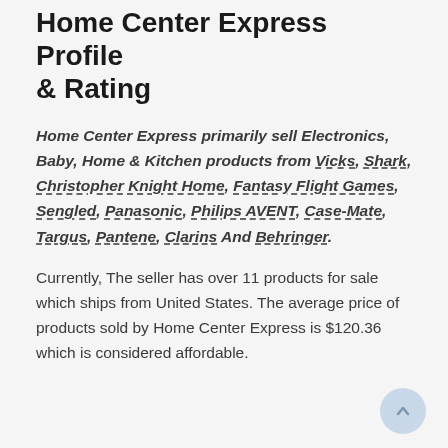Home Center Express Profile & Rating
Home Center Express primarily sell Electronics, Baby, Home & Kitchen products from Vicks, Shark, Christopher Knight Home, Fantasy Flight Games, Sengled, Panasonic, Philips AVENT, Case-Mate, Targus, Pantene, Clarins And Behringer.
Currently, The seller has over 11 products for sale which ships from United States. The average price of products sold by Home Center Express is $120.36 which is considered affordable.